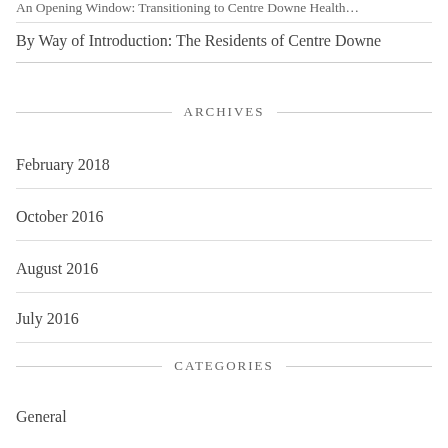An Opening Window: Transitioning to Centre Downe Health…
By Way of Introduction: The Residents of Centre Downe
ARCHIVES
February 2018
October 2016
August 2016
July 2016
CATEGORIES
General